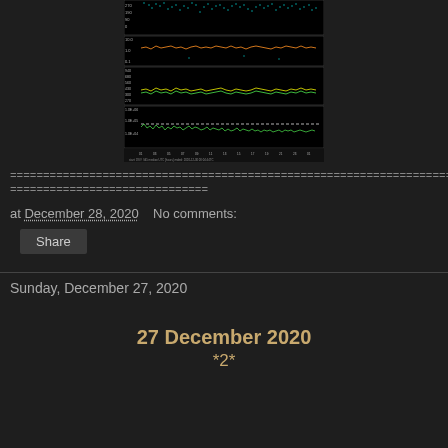[Figure (continuous-plot): Multi-panel time series solar wind / space weather data chart on black background. Shows data from approximately 01 to 01 hours UTC on 2020-12-30. Panels include: top panel with cyan scatter points (flux ~0-270), second panel with orange and cyan lines (density ~0.1-10.0, log scale), third panel with yellow/green lines (velocity ~270-940 km/s), bottom panel with green noisy line (temperature ~1e+04 to 1e+06). White dashed reference line in bottom panel. X-axis shows UTC hours labeled 01,03,05,07,09,11,13,15,17,19,21,23,01. Bottom text shows station info and date 2020-12-30 00:04:44UTC.]
================================================================================
==============================
at December 28, 2020    No comments:
Share
Sunday, December 27, 2020
27 December 2020
*2*